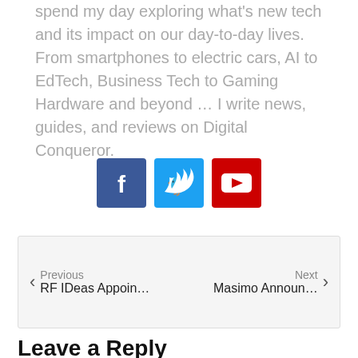spend my day exploring what's new tech and its impact on our day-to-day lives. From smartphones to electric cars, AI to EdTech, Business Tech to Gaming Hardware and beyond … I write news, guides, and reviews on Digital Conqueror.
[Figure (infographic): Three social media icon buttons: Facebook (dark blue), Twitter (light blue), YouTube (red)]
Previous RF IDeas Appoin…  Next Masimo Announ…
Leave a Reply